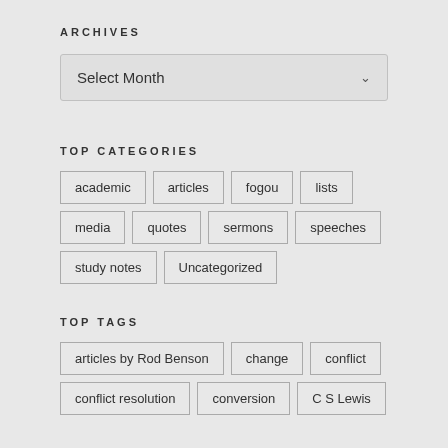ARCHIVES
[Figure (screenshot): A dropdown select box labeled 'Select Month' with a chevron arrow on the right]
TOP CATEGORIES
academic
articles
fogou
lists
media
quotes
sermons
speeches
study notes
Uncategorized
TOP TAGS
articles by Rod Benson
change
conflict
conflict resolution
conversion
C S Lewis